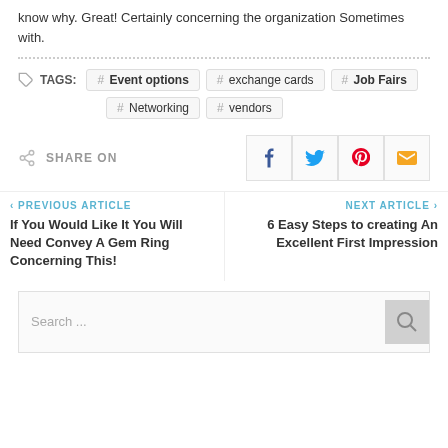know why. Great! Certainly concerning the organization Sometimes with.
TAGS: # Event options  # exchange cards  # Job Fairs  # Networking  # vendors
SHARE ON
< PREVIOUS ARTICLE
If You Would Like It You Will Need Convey A Gem Ring Concerning This!
NEXT ARTICLE >
6 Easy Steps to creating An Excellent First Impression
Search ...